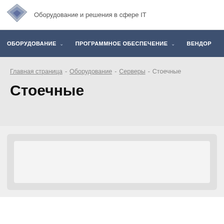[Figure (logo): Diamond/chevron shaped logo in grey tones]
Оборудование и решения в сфере IT
ОБОРУДОВАНИЕ  ПРОГРАММНОЕ ОБЕСПЕЧЕНИЕ  ВЕНДОР
Главная страница - Оборудование - Серверы - Стоечные
Стоечные